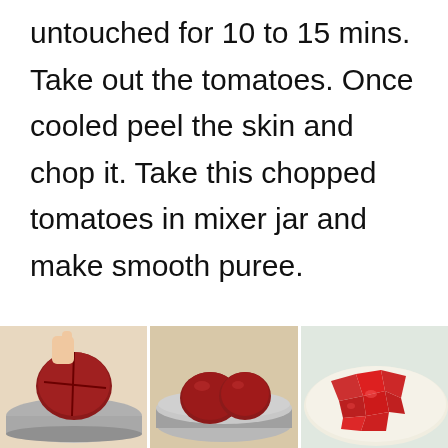untouched for 10 to 15 mins. Take out the tomatoes. Once cooled peel the skin and chop it. Take this chopped tomatoes in mixer jar and make smooth puree.
[Figure (photo): Three side-by-side photos showing tomato preparation steps: left photo shows a hand holding a scored tomato over a metal bowl, middle photo shows whole tomatoes in a metal bowl, right photo shows chopped/peeled tomatoes in a dish.]